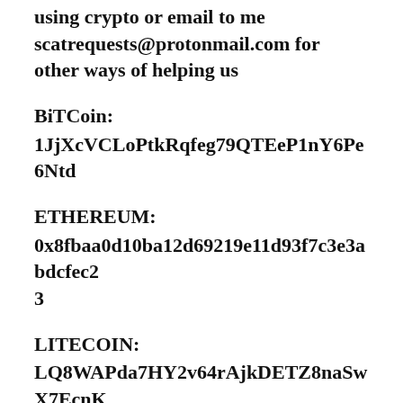using crypto or email to me scatrequests@protonmail.com for other ways of helping us
BiTCoin:
1JjXcVCLoPtkRqfeg79QTEeP1nY6Pe6Ntd
ETHEREUM:
0x8fbaa0d10ba12d69219e11d93f7c3e3abdcfec23
LITECOIN:
LQ8WAPda7HY2v64rAjkDETZ8naSwX7EcnK
USDT:
0x8fbaa0d10ba12d69219e11d93f7c3e3abdcfec2